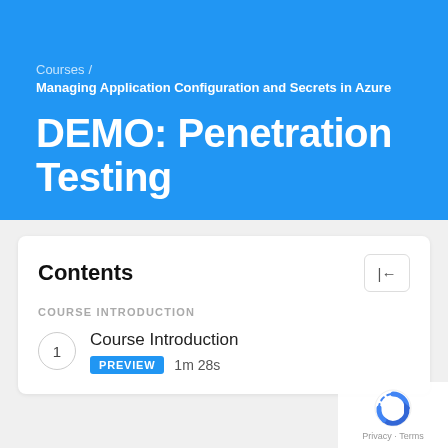Courses / Managing Application Configuration and Secrets in Azure
DEMO: Penetration Testing
Contents
COURSE INTRODUCTION
1 Course Introduction
PREVIEW  1m 28s